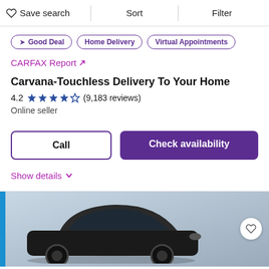Save search  Sort  Filter
Good Deal
Home Delivery
Virtual Appointments
CARFAX Report ↗
Carvana-Touchless Delivery To Your Home
4.2 ★★★★☆ (9,183 reviews)
Online seller
Call
Check availability
Show details ∨
[Figure (photo): Photo of a dark-colored SUV/car viewed from the front-right angle, with a blurred background. A blue vertical bar on the left edge and a heart icon button on the right.]